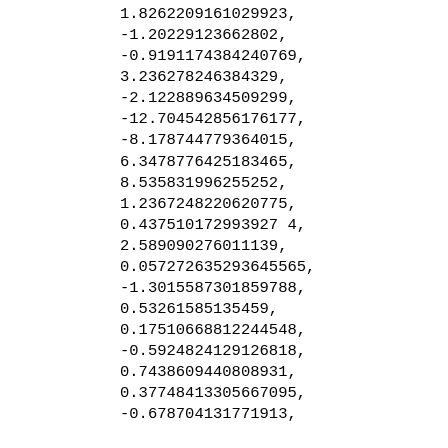1.8262209161029923,
-1.20229123662802,
-0.9191174384240769,
3.236278246384329,
-2.122889634509299,
-12.704542856176177,
-8.178744779364015,
6.3478776425183465,
8.535831996255252,
1.2367248220620775,
0.437510172993927 4,
2.589090276011139,
0.057272635293645565,
-1.3015587301859788,
0.53261585135459,
0.17510668812244548,
-0.5924824129126818,
0.7438609440808931,
0.37748413305667095,
-0.678704131771913,